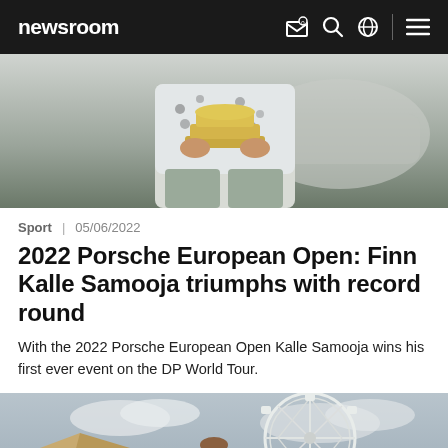newsroom
[Figure (photo): Person holding a large trophy/award, wearing a floral shirt, with a car visible in the background]
Sport | 05/06/2022
2022 Porsche European Open: Finn Kalle Samooja triumphs with record round
With the 2022 Porsche European Open Kalle Samooja wins his first ever event on the DP World Tour.
[Figure (photo): Man smiling outdoors near a large ferris wheel and tent/marquee structure against a cloudy sky]